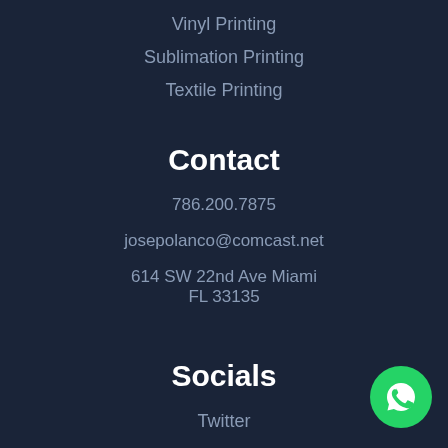Vinyl Printing
Sublimation Printing
Textile Printing
Contact
786.200.7875
josepolanco@comcast.net
614 SW 22nd Ave Miami FL 33135
Socials
Twitter
[Figure (illustration): WhatsApp contact button - green circle with white phone handset icon]